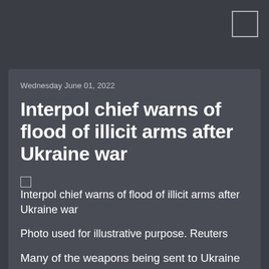Wednesday June 01, 2022
Interpol chief warns of flood of illicit arms after Ukraine war
[Figure (photo): Broken image placeholder for 'Interpol chief warns of flood of illicit arms after Ukraine war'. Photo used for illustrative purpose. Reuters]
Photo used for illustrative purpose. Reuters
Many of the weapons being sent to Ukraine will eventually wind up in criminal hands in Europe and beyond, Interpol's chief warned on